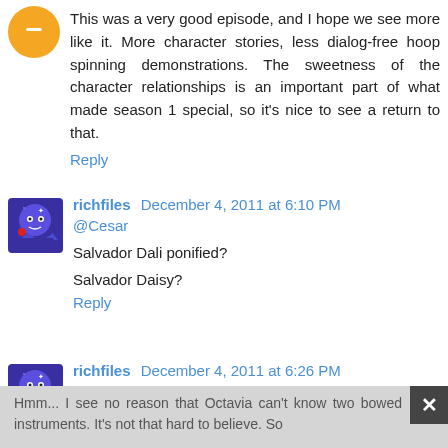This was a very good episode, and I hope we see more like it. More character stories, less dialog-free hoop spinning demonstrations. The sweetness of the character relationships is an important part of what made season 1 special, so it's nice to see a return to that.
Reply
richfiles December 4, 2011 at 6:10 PM
@Cesar
Salvador Dali ponified?
Salvador Daisy?
Reply
richfiles December 4, 2011 at 6:26 PM
@SgtGarand
Hmm... I see no reason that Octavia can't know two bowed instruments. It's not that hard to believe. So